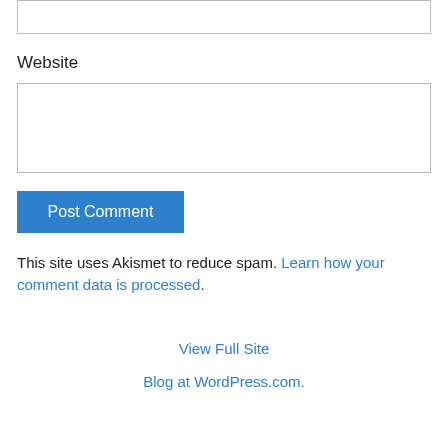Website
Post Comment
This site uses Akismet to reduce spam. Learn how your comment data is processed.
View Full Site
Blog at WordPress.com.